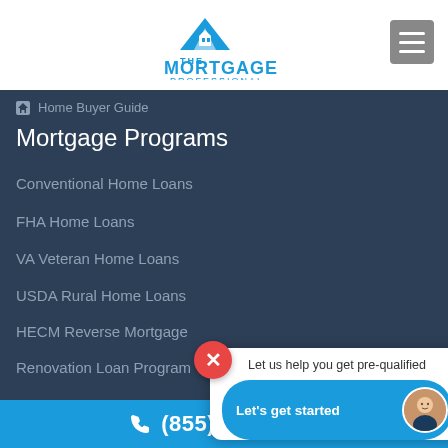[Figure (logo): The Mortgage Professional logo with blue house/mountain icon and text]
[Figure (other): Gray hamburger menu button in top right corner]
Home Buyer Guide
Mortgage Programs
Conventional Home Loans
FHA Home Loans
VA Veteran Home Loans
USDA Rural Home Loans
HECM Reverse Mortgage
Renovation Loan Program
Popular Articles
[Figure (other): Close (X) button and popup bubble saying 'Let us help you get pre-qualified' with 'Let's get started' button and advisor photo]
(855) 346-1003